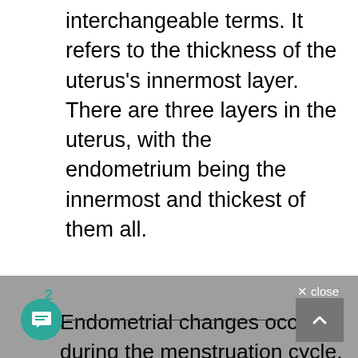interchangeable terms. It refers to the thickness of the uterus's innermost layer. There are three layers in the uterus, with the endometrium being the innermost and thickest of them all.
Endometrial changes occur during the menstruation cycle, which means the thickness of the endometrium will rise regularly before dissolving with the menstrual fluid. Then it grows and goes again. The cycle continues.
2